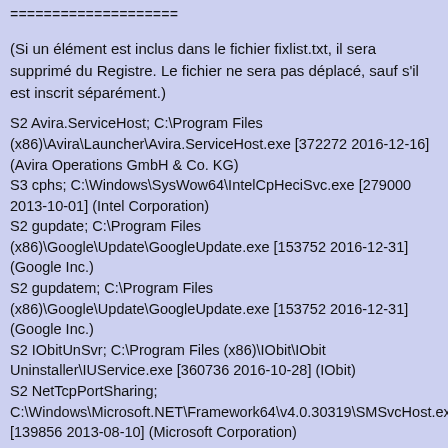====================
(Si un élément est inclus dans le fichier fixlist.txt, il sera supprimé du Registre. Le fichier ne sera pas déplacé, sauf s'il est inscrit séparément.)
S2 Avira.ServiceHost; C:\Program Files (x86)\Avira\Launcher\Avira.ServiceHost.exe [372272 2016-12-16] (Avira Operations GmbH & Co. KG)
S3 cphs; C:\Windows\SysWow64\IntelCpHeciSvc.exe [279000 2013-10-01] (Intel Corporation)
S2 gupdate; C:\Program Files (x86)\Google\Update\GoogleUpdate.exe [153752 2016-12-31] (Google Inc.)
S2 gupdatem; C:\Program Files (x86)\Google\Update\GoogleUpdate.exe [153752 2016-12-31] (Google Inc.)
S2 IObitUnSvr; C:\Program Files (x86)\IObit\IObit Uninstaller\IUService.exe [360736 2016-10-28] (IObit)
S2 NetTcpPortSharing; C:\Windows\Microsoft.NET\Framework64\v4.0.30319\SMSvcHost.exe [139856 2013-08-10] (Microsoft Corporation)